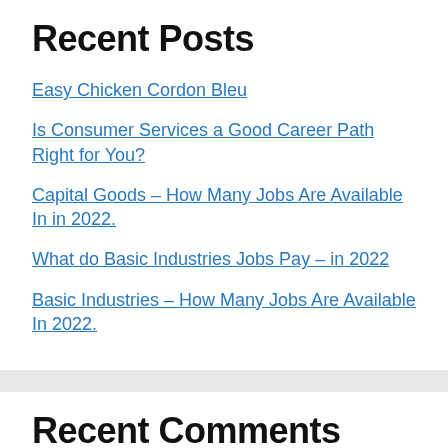Recent Posts
Easy Chicken Cordon Bleu
Is Consumer Services a Good Career Path Right for You?
Capital Goods – How Many Jobs Are Available In in 2022.
What do Basic Industries Jobs Pay – in 2022
Basic Industries – How Many Jobs Are Available In 2022.
Recent Comments
commercial loan truerate services